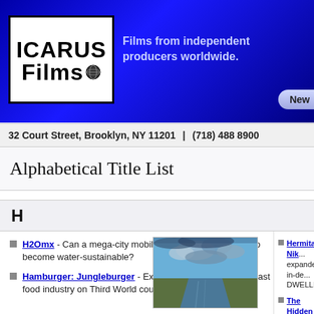[Figure (logo): Icarus Films logo — white box with black border, bold text ICARUS Films with globe icon, on dark blue/purple gradient banner. Tagline: Films from independent producers worldwide.]
32 Court Street, Brooklyn, NY 11201  |  (718) 488 8900
Alphabetical Title List
H
H2Omx - Can a mega-city mobilize its 22 million citizens to become water-sustainable?
Hamburger: Jungleburger - Examines the impact of the fast food industry on Third World countries.
Hermitage-Nik... expanded, in-de... DWELLERS.
The Hidden Fa... psychologists a... understanding ... works, and cha...